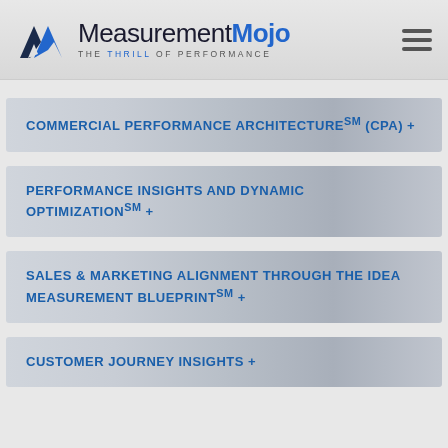[Figure (logo): Measurement Mojo logo with chevron/arrow icon and tagline THE THRILL OF PERFORMANCE]
COMMERCIAL PERFORMANCE ARCHITECTURESM (CPA) +
PERFORMANCE INSIGHTS AND DYNAMIC OPTIMIZATIONSM +
SALES & MARKETING ALIGNMENT THROUGH THE IDEA MEASUREMENT BLUEPRINTSM +
CUSTOMER JOURNEY INSIGHTS +